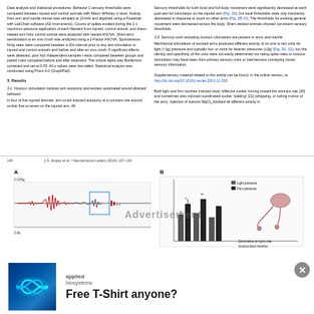Data analysis and statistical procedures. Behavior 1 sensory thresholds were compared between injured and control animals with Mann–Whitney U tests. Activity from arm and mantle nerves was sampled at 10 kHz and digitized using a Powerlab with LabChart software (AD Instruments). Counts of spikes evoked during the 1 s maximum pressure application of each filament from injured, control animal, and sham-treated arm from control animal were analyzed with nested ANOVA. Short-term sensitization to ex vivo crush was analyzed using a 2-Factor ANOVA. Spontaneous firing rates were compared between a 20s interval prior to any test stimulation in injured and control animals and before and after ex vivo crush. If significant effects were detected, post hoc independent-samples t-tests compared between groups and paired t-test compared before and after treatment. The critical alpha was Bonferroni-corrected and set at 0.05. All p values were two-tailed. Statistical analysis was conducted using Prism 6.0 (GraphPad).
3. Results
3.1. Noxious stimulation induces arm autotomy and evokes automated wound-directed behavior

In four of five injured animals, arm crush induced autotomy at a constant site around sucker five to seven on the injured arm. All
Sensory thresholds for both local and full-body movement were significantly decreased at each post-test for stimulation on the injured arm (Fig. 2A), but local thresholds were only transiently decreased in response to touch on other arms (Fig. 2B–D). The thresholds for evoking general movement were decreased across the body. Sham-treated animals showed consistent sensory thresholds
3.3. Sensory units encoding noxious stimulation are present in arms and mantle
Mechanical stimulation of excised arms produced different activity on one to two units for light (<1g) pressure and typically four or more for heavier pressures (≥2g) (Fig. 3A, S1), but the identity and specificity of the units were not easily determined nor rating spike rates to noxious stimulation may have been from primary sensory units or interneurons conveying mixed sensory information.

Supplementary material related to this article can be found, in the online version, at http://dx.doi.org/10.1016/j.neulet.2013.11.002.

Both light and firm touches induced local, reflexive sucker turning toward the stimulus site [20] and sometimes also induced coordinated sucker 'stalking' [21] (whipping, or coiling motion of the arm). Injection of isotonic MgCl2 blocked all different activity in
140                                J.S. Alupay et al. / Neuroscience Letters (2014) 137–143
[Figure (photo): Electrophysiology trace panel A showing waveform recording with scale bar 0.025g and time axis, and panel B with bar charts showing sucker responses at different stimulation intensities with anatomical diagram of octopus arm]
[Figure (photo): Advertisement image: Applied Biosystems logo with infinity symbol on blue background, text reading 'Free T-Shirt anyone?']